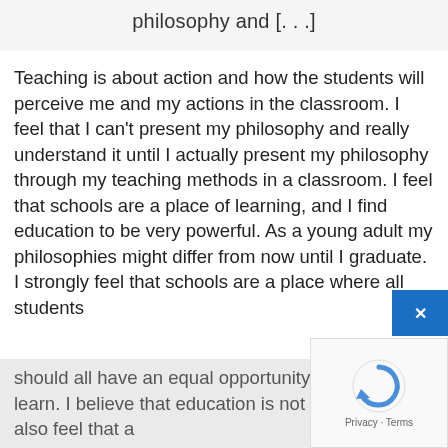philosophy and [. . .]
Teaching is about action and how the students will perceive me and my actions in the classroom. I feel that I can't present my philosophy and really understand it until I actually present my philosophy through my teaching methods in a classroom. I feel that schools are a place of learning, and I find education to be very powerful. As a young adult my philosophies might differ from now until I graduate. I strongly feel that schools are a place where all students should all have an equal opportunity to learn. I also believe it is up to the student how much they are willing to learn. I believe that education is not only an academic thing it is emotional, social, academic, and physical. I also feel that a
[Figure (other): reCAPTCHA widget with blue close button overlay]